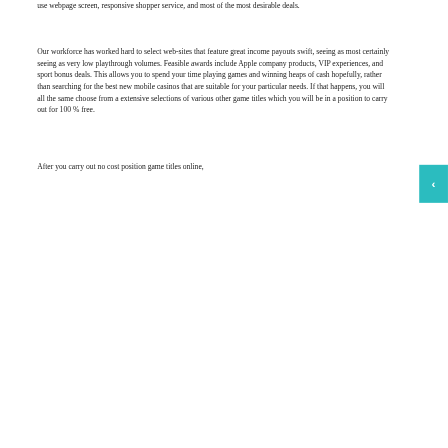use webpage screen, responsive shopper service, and most of the most desirable deals.
Our workforce has worked hard to select web-sites that feature great income payouts swift, seeing as most certainly seeing as very low playthrough volumes. Feasible awards include Apple company products, VIP experiences, and sport bonus deals. This allows you to spend your time playing games and winning heaps of cash hopefully, rather than searching for the best new mobile casinos that are suitable for your particular needs. If that happens, you will all the same choose from a extensive selections of various other game titles which you will be in a position to carry out for 100 % free.
After you carry out no cost position game titles online,